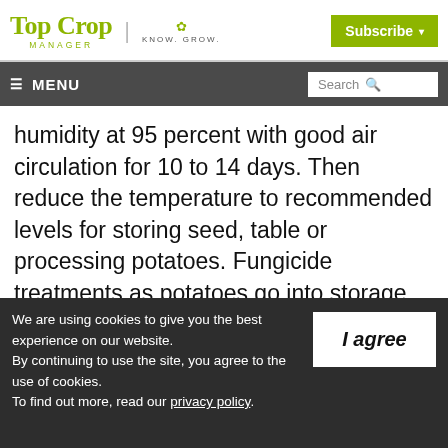Top Crop Manager | Know. Grow. | Subscribe
≡ MENU | Search
humidity at 95 percent with good air circulation for 10 to 14 days. Then reduce the temperature to recommended levels for storing seed, table or processing potatoes. Fungicide treatments as potatoes go into storage may also help
We are using cookies to give you the best experience on our website.
By continuing to use the site, you agree to the use of cookies.
To find out more, read our privacy policy.